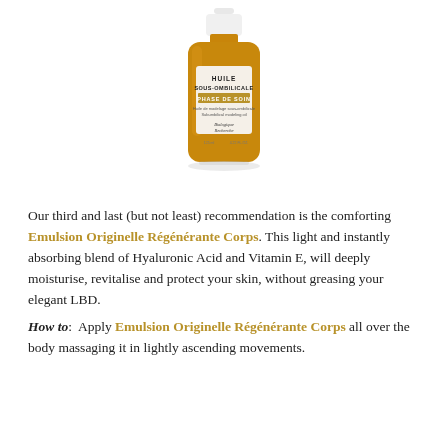[Figure (photo): A brown glass bottle with white dropper cap labeled 'HUILE SOUS-OMBILICALE PHASE DE SOIN' by Biologique Recherche, 125ml / 4.22 fl oz]
Our third and last (but not least) recommendation is the comforting Emulsion Originelle Régénérante Corps. This light and instantly absorbing blend of Hyaluronic Acid and Vitamin E, will deeply moisturise, revitalise and protect your skin, without greasing your elegant LBD.
How to:  Apply Emulsion Originelle Régénérante Corps all over the body massaging it in lightly ascending movements.